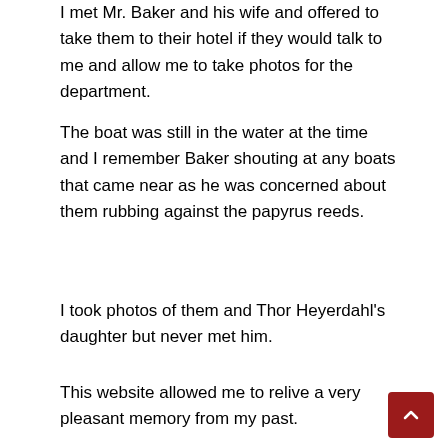I met Mr. Baker and his wife and offered to take them to their hotel if they would talk to me and allow me to take photos for the department.
The boat was still in the water at the time and I remember Baker shouting at any boats that came near as he was concerned about them rubbing against the papyrus reeds.
I took photos of them and Thor Heyerdahl's daughter but never met him.
This website allowed me to relive a very pleasant memory from my past.